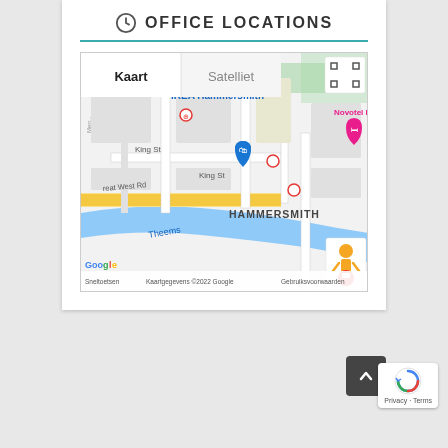OFFICE LOCATIONS
[Figure (map): Google Maps screenshot showing Hammersmith area in London, with IKEA Hammersmith label, King St, Great West Rd, Theems river, Novotel Lo(ndon) hotel marker, map controls (Kaart/Satelliet tabs, fullscreen button, street view pegman), and Google branding at bottom: Sneltoetsen | Kaartgegevens ©2022 Google | Gebruiksvoorwaarden]